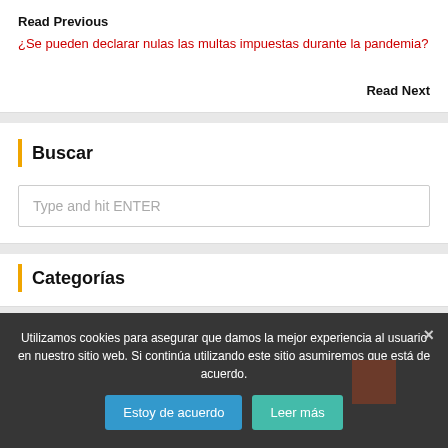Read Previous
¿Se pueden declarar nulas las multas impuestas durante la pandemia?
Read Next
Buscar
Type and hit ENTER
Categorías
Utilizamos cookies para asegurar que damos la mejor experiencia al usuario en nuestro sitio web. Si continúa utilizando este sitio asumiremos que está de acuerdo.
Estoy de acuerdo
Leer más